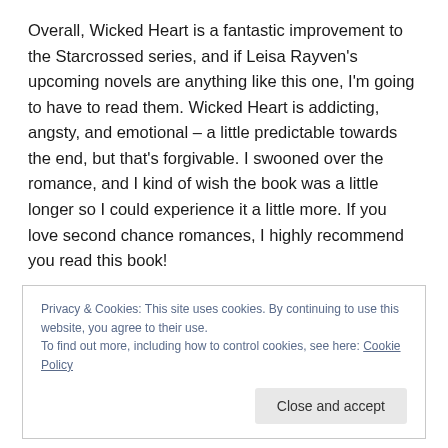Overall, Wicked Heart is a fantastic improvement to the Starcrossed series, and if Leisa Rayven's upcoming novels are anything like this one, I'm going to have to read them. Wicked Heart is addicting, angsty, and emotional – a little predictable towards the end, but that's forgivable. I swooned over the romance, and I kind of wish the book was a little longer so I could experience it a little more. If you love second chance romances, I highly recommend you read this book!
Privacy & Cookies: This site uses cookies. By continuing to use this website, you agree to their use. To find out more, including how to control cookies, see here: Cookie Policy
Close and accept